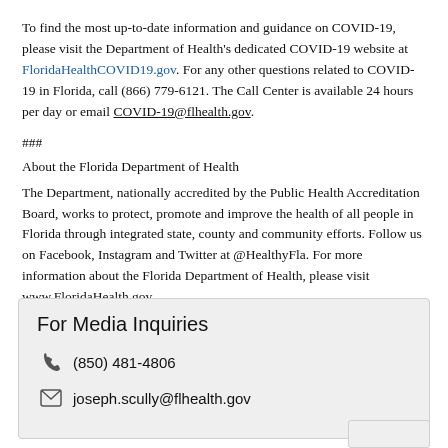To find the most up-to-date information and guidance on COVID-19, please visit the Department of Health’s dedicated COVID-19 website at FloridaHealthCOVID19.gov. For any other questions related to COVID-19 in Florida, call (866) 779-6121. The Call Center is available 24 hours per day or email COVID-19@flhealth.gov.
###
About the Florida Department of Health
The Department, nationally accredited by the Public Health Accreditation Board, works to protect, promote and improve the health of all people in Florida through integrated state, county and community efforts. Follow us on Facebook, Instagram and Twitter at @HealthyFla. For more information about the Florida Department of Health, please visit www.FloridaHealth.gov.
For Media Inquiries
(850) 481-4806
joseph.scully@flhealth.gov